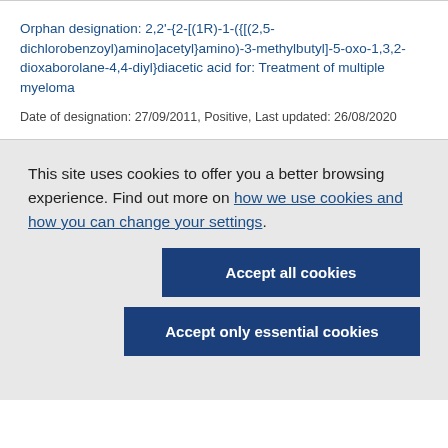Orphan designation: 2,2'-{2-[(1R)-1-({[(2,5-dichlorobenzoyl)amino]acetyl}amino)-3-methylbutyl]-5-oxo-1,3,2-dioxaborolane-4,4-diyl}diacetic acid for: Treatment of multiple myeloma
Date of designation: 27/09/2011, Positive, Last updated: 26/08/2020
This site uses cookies to offer you a better browsing experience. Find out more on how we use cookies and how you can change your settings.